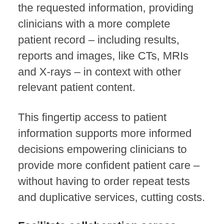the requested information, providing clinicians with a more complete patient record – including results, reports and images, like CTs, MRIs and X-rays – in context with other relevant patient content.
This fingertip access to patient information supports more informed decisions empowering clinicians to provide more confident patient care – without having to order repeat tests and duplicative services, cutting costs.
Facilitate collaboration across health systems
OnBase Anywhere ensures that when a patient